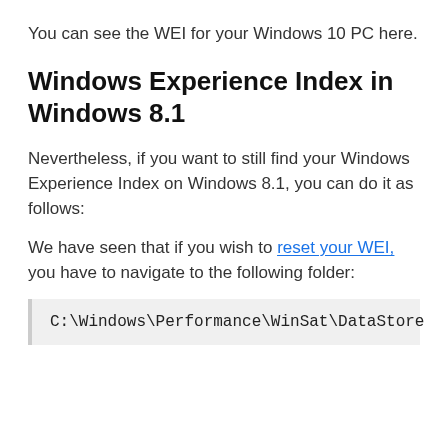You can see the WEI for your Windows 10 PC here.
Windows Experience Index in Windows 8.1
Nevertheless, if you want to still find your Windows Experience Index on Windows 8.1, you can do it as follows:
We have seen that if you wish to reset your WEI, you have to navigate to the following folder:
C:\Windows\Performance\WinSat\DataStore